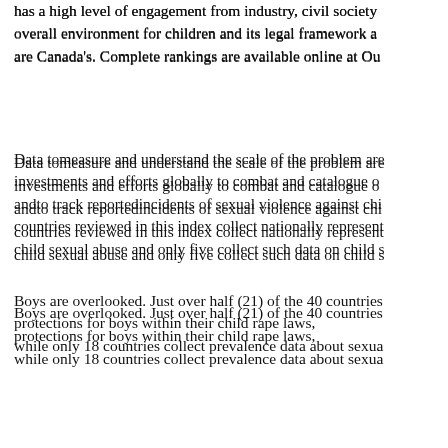has a high level of engagement from industry, civil society overall environment for children and its legal framework a are Canada's. Complete rankings are available online at Ou
Data tomeasure and understand the scale of the problem are investments and efforts globally to combat and catalogue o andto track reportedincidents of sexual violence against chi countries reviewed in this index collect nationally represent child sexual abuse and only five collect such data on child s
Boys are overlooked. Just over half (21) of the 40 countries protections for boys within their child rape laws, while only 18 countries collect prevalence data about sexua
Country action has been most pronounced on legal framew International coalitions can be a path to better legislation, a strong legal structures  also have good fundamentals, including designated national plans, policies and institutior violence against children.
Combatting child sexual abuse and exploitation is becomin global stage and in many individual countries, and research possible even when resources are limited.